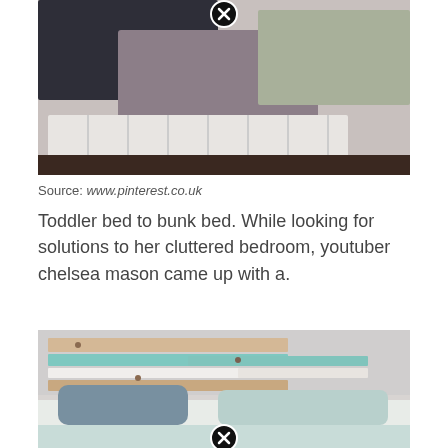[Figure (photo): Bed with white cubby storage underneath, covered with dark gray and light purple/gray blankets, viewed from the foot of the bed]
Source: www.pinterest.co.uk
Toddler bed to bunk bed. While looking for solutions to her cluttered bedroom, youtuber chelsea mason came up with a.
[Figure (photo): Bed with colorful pallet wood headboard in teal, white, and natural wood tones, with teal/gray pillows and bedding]